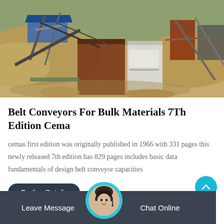[Figure (photo): Mining or quarry site with sandy terrain, conveyor equipment, metal structures and blue roofing, outdoor industrial scene]
Belt Conveyors For Bulk Materials 7Th Edition Cema
cemas first edition was originally published in 1966 with 331 pages this newly released 7th edition has 829 pages includes basic data fundamentals of design belt conveyor capacities
Further Details
Leave Message   Chat Online